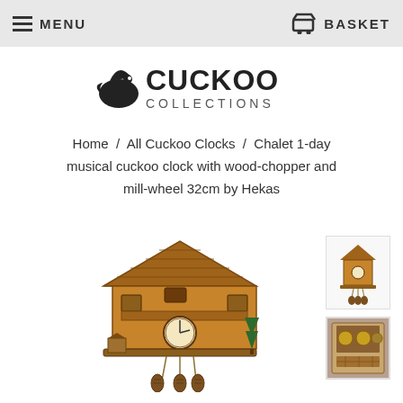MENU | BASKET
[Figure (logo): Cuckoo Collections logo with bird silhouette and text CUCKOO COLLECTIONS]
Home / All Cuckoo Clocks / Chalet 1-day musical cuckoo clock with wood-chopper and mill-wheel 32cm by Hekas
[Figure (photo): Main product photo of a chalet-style mechanical cuckoo clock with wood-chopper and mill-wheel, showing pendulum weights and pine cone weights hanging below]
[Figure (photo): Small thumbnail of full cuckoo clock]
[Figure (photo): Small thumbnail of cuckoo clock mechanism/back detail]